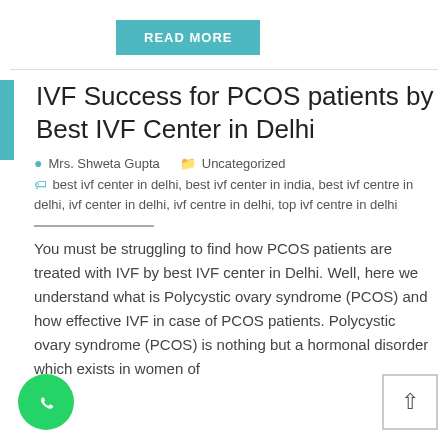READ MORE
IVF Success for PCOS patients by Best IVF Center in Delhi
Mrs. Shweta Gupta   Uncategorized
best ivf center in delhi, best ivf center in india, best ivf centre in delhi, ivf center in delhi, ivf centre in delhi, top ivf centre in delhi
You must be struggling to find how PCOS patients are treated with IVF by best IVF center in Delhi. Well, here we understand what is Polycystic ovary syndrome (PCOS) and how effective IVF in case of PCOS patients. Polycystic ovary syndrome (PCOS) is nothing but a hormonal disorder which exists in women of reproductive age. The [...]